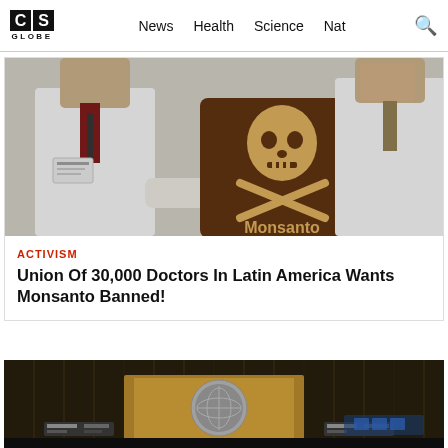CS GLOBE | News | Health | Science | Nat
[Figure (photo): Two people in white lab coats near a brown Monsanto skull-and-crossbones logo sign, in a clinical/laboratory setting]
ACTIVISM
Union Of 30,000 Doctors In Latin America Wants Monsanto Banned!
[Figure (photo): Interior of United Nations General Assembly hall with golden podium and UN emblem visible, dark wood-paneled background]